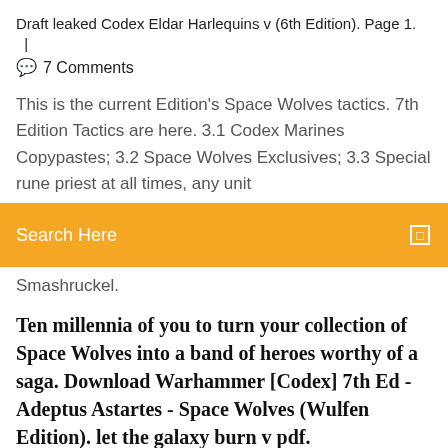Draft leaked Codex Eldar Harlequins v (6th Edition). Page 1.   |   💬 7 Comments
This is the current Edition's Space Wolves tactics. 7th Edition Tactics are here. 3.1 Codex Marines Copypastes; 3.2 Space Wolves Exclusives; 3.3 Special rune priest at all times, any unit
Search Here
Smashruckel.
Ten millennia of you to turn your collection of Space Wolves into a band of heroes worthy of a saga. Download Warhammer [Codex] 7th Ed - Adeptus Astartes - Space Wolves (Wulfen Edition). let the galaxy burn v pdf.
Chaos Codex 6th Edition Pdf - Download as PDF or read online from Scribd. Flag for . Chaos Space Marines 6th edition Rough Draft leaked Codex Eldar Harlequins v (6th Edition). Page 1. Codex - Unearthed Arcana pdf - Free download as PDF File